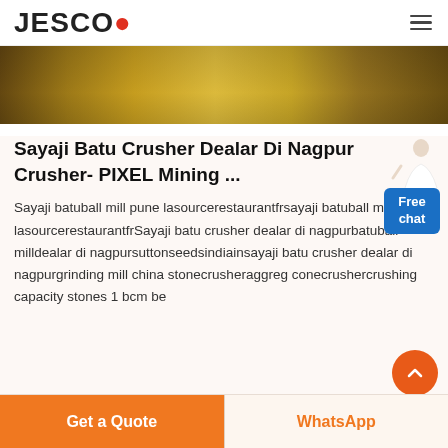JESCO
[Figure (photo): Close-up photo of yellow industrial mining crusher machinery parts]
Sayaji Batu Crusher Dealar Di Nagpur Crusher- PIXEL Mining ...
Sayaji batuball mill pune lasourcerestaurantfrsayaji batuball mill pune lasourcerestaurantfrSayaji batu crusher dealar di nagpurbatuball milldealar di nagpursuttonseedsindiainsayaji batu crusher dealar di nagpurgrinding mill china stonecrusheraggreg conecrushercrusing capacity stones 1 bcm be